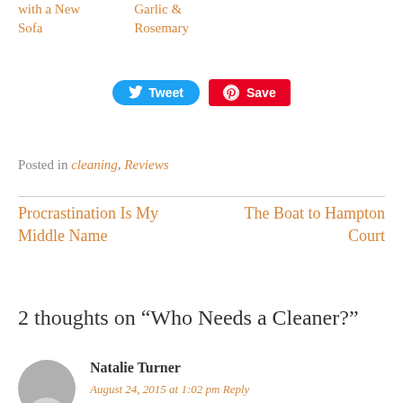with a New Sofa
Garlic & Rosemary
[Figure (other): Tweet and Save social sharing buttons]
Posted in cleaning, Reviews
Procrastination Is My Middle Name
The Boat to Hampton Court
2 thoughts on “Who Needs a Cleaner?”
Natalie Turner
August 24, 2015 at 1:02 pm  Reply